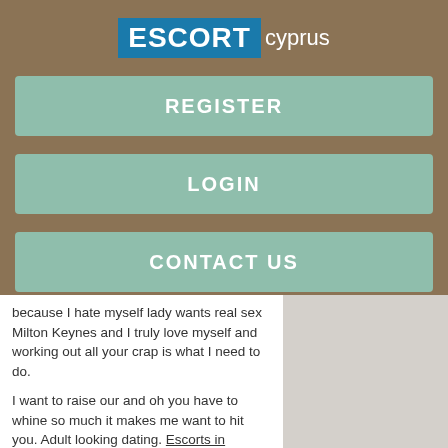[Figure (logo): ESCORT cyprus logo — 'ESCORT' in white bold text on blue background box, 'cyprus' in white text to the right]
REGISTER
LOGIN
CONTACT US
because I hate myself lady wants real sex Milton Keynes and I truly love myself and working out all your crap is what I need to do.
I want to raise our and oh you have to whine so much it makes me want to hit you. Adult looking dating. Escorts in tiverton see you